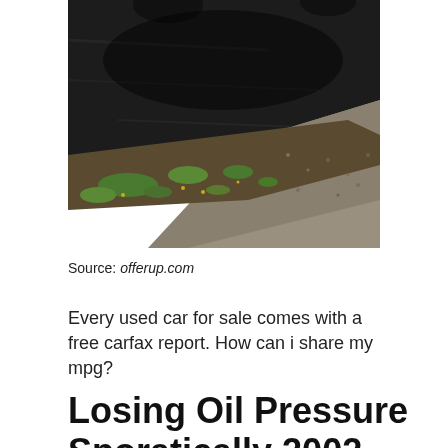[Figure (photo): Aerial or close-up view of a dark asphalt driveway or road surface with a border of grass, dirt, and gravel visible along the edge.]
Source: offerup.com
Every used car for sale comes with a free carfax report. How can i share my mpg?
Losing Oil Pressure Sporatically 2002 Dakota